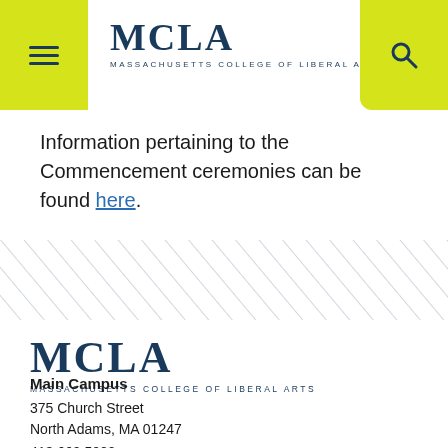MCLA MASSACHUSETTS COLLEGE OF LIBERAL ARTS
Information pertaining to the Commencement ceremonies can be found here.
[Figure (illustration): Diagonal stripe pattern in navy blue on white background]
[Figure (logo): MCLA Massachusetts College of Liberal Arts footer logo]
Main Campus
375 Church Street
North Adams, MA 01247
413.662.5000